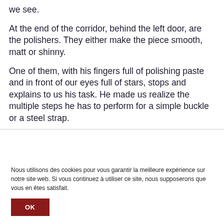we see.
At the end of the corridor, behind the left door, are the polishers. They either make the piece smooth, matt or shinny.
One of them, with his fingers full of polishing paste and in front of our eyes full of stars, stops and explains to us his task. He made us realize the multiple steps he has to perform for a simple buckle or a steel strap.
Nous utilisons des cookies pour vous garantir la meilleure expérience sur notre site web. Si vous continuez à utiliser ce site, nous supposerons que vous en êtes satisfait.